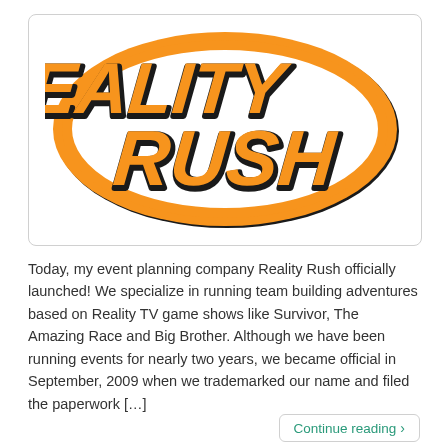[Figure (logo): Reality Rush logo: orange bold italic text 'REALITY RUSH' on two lines inside an orange oval outline on white background with dark outline shadow.]
Today, my event planning company Reality Rush officially launched! We specialize in running team building adventures based on Reality TV game shows like Survivor, The Amazing Race and Big Brother. Although we have been running events for nearly two years, we became official in September, 2009 when we trademarked our name and filed the paperwork […]
Continue reading ›